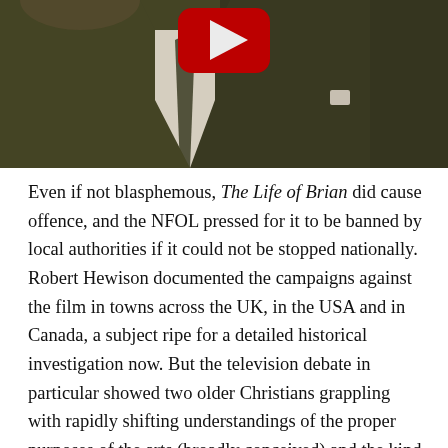[Figure (screenshot): A YouTube video thumbnail showing a man in an olive/brown corduroy jacket with a tie, with a YouTube play button overlay in the upper center.]
Even if not blasphemous, The Life of Brian did cause offence, and the NFOL pressed for it to be banned by local authorities if it could not be stopped nationally. Robert Hewison documented the campaigns against the film in towns across the UK, in the USA and in Canada, a subject ripe for a detailed historical investigation now. But the television debate in particular showed two older Christians grappling with rapidly shifting understandings of the proper purposes of the arts (broadly conceived) and the kind of treatment established Christianity could expect from them.